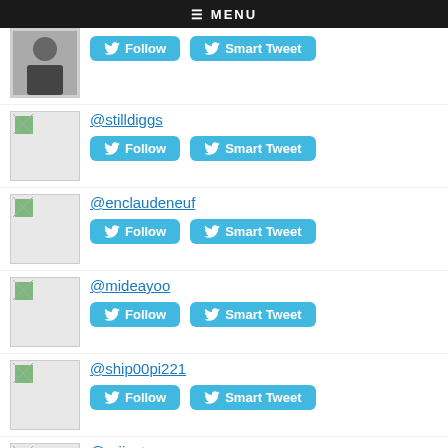MENU
@stilldiggs
@enclaudeneuf
@mideayoo
@ship00pi221
@rejiyates
@touchedbyty
@aleyda